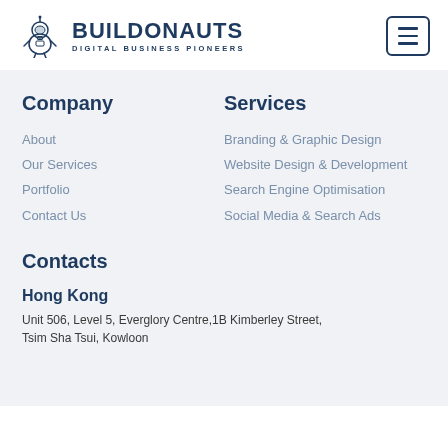[Figure (logo): Buildonauts logo with astronaut-like character icon and text 'BUILDONAUTS DIGITAL BUSINESS PIONEERS']
Company
Services
About
Our Services
Portfolio
Contact Us
Branding & Graphic Design
Website Design & Development
Search Engine Optimisation
Social Media & Search Ads
Contacts
Hong Kong
Unit 506, Level 5, Everglory Centre,1B Kimberley Street, Tsim Sha Tsui, Kowloon